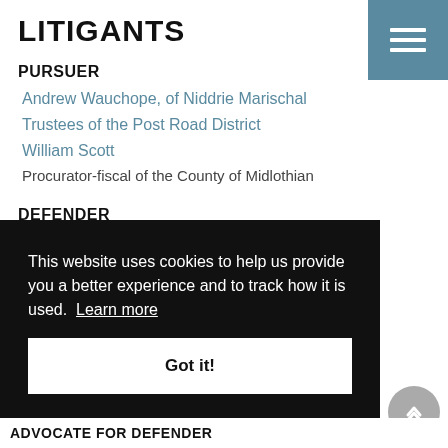LITIGANTS
PURSUER
Andrew Wauchope, of Niddrie Marischal
Trustees of the Post Road District
William Scott
Procurator-fiscal of the County of Midlothian
DEFENDER
Magistrates of Canongate
This website uses cookies to help us provide you a better experience and to track how it is used. Learn more
Got it!
ADVOCATE FOR DEFENDER